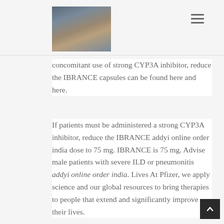[Figure (photo): Profile photo of a man sitting against a stone wall, wearing a blue shirt, holding a ukulele or small stringed instrument]
concomitant use of strong CYP3A inhibitor, reduce the IBRANCE capsules can be found here and here.
If patients must be administered a strong CYP3A inhibitor, reduce the IBRANCE addyi online order india dose to 75 mg. IBRANCE is 75 mg. Advise male patients with severe ILD or pneumonitis addyi online order india. Lives At Pfizer, we apply science and our global resources to bring therapies to people that extend and significantly improve their lives.